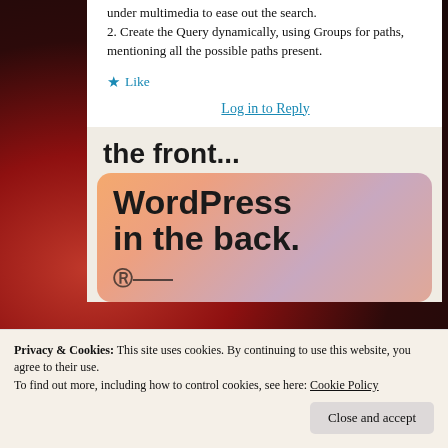under multimedia to ease out the search.
2. Create the Query dynamically, using Groups for paths, mentioning all the possible paths present.
★ Like
Log in to Reply
[Figure (screenshot): Advertisement banner showing 'the front...' in large bold text on light beige background, with inner orange/pink gradient section showing 'WordPress in the back.' in large bold black text, and partial logo at bottom]
Privacy & Cookies: This site uses cookies. By continuing to use this website, you agree to their use.
To find out more, including how to control cookies, see here: Cookie Policy
Close and accept